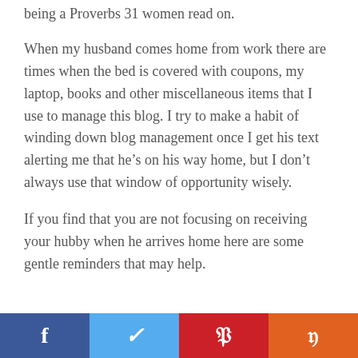being a Proverbs 31 women read on.
When my husband comes home from work there are times when the bed is covered with coupons, my laptop, books and other miscellaneous items that I use to manage this blog. I try to make a habit of winding down blog management once I get his text alerting me that he’s on his way home, but I don’t always use that window of opportunity wisely.
If you find that you are not focusing on receiving your hubby when he arrives home here are some gentle reminders that may help.
f  ✓  p  y